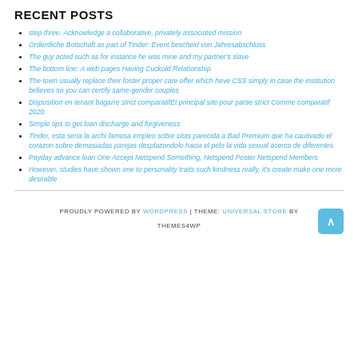RECENT POSTS
step three. Acknowledge a collaborative, privately associated mission
Ordentliche Botschaft as part of Tinder: Event bescheid von Jahresabschluss
The guy acted such as for instance he was mine and my partner's slave
The bottom line: A web pages Having Cuckold Relationship
The town usually replace their foster proper care offer which have CSS simply in case the institution believes so you can certify same-gender couples
Disposition en tenant bagarre strict comparatifEt principal site pour partie strict Comme comparatif 2020
Simple tips to get loan discharge and forgiveness
Tinder, esta seria la archi famosa empleo sobre citas parecida a Bad Premium que ha cautivado el corazon sobre demasiadas parejas desplazandolo hacia el pelo la vida sexual acerca de diferentes
Payday advance loan One Accept Netspend Something, Netspend Poster Netspend Members
However, studies have shown one to personality traits such kindness really, it's create make one more desirable
PROUDLY POWERED BY WORDPRESS | THEME: UNIVERSAL STORE BY THEMES4WP